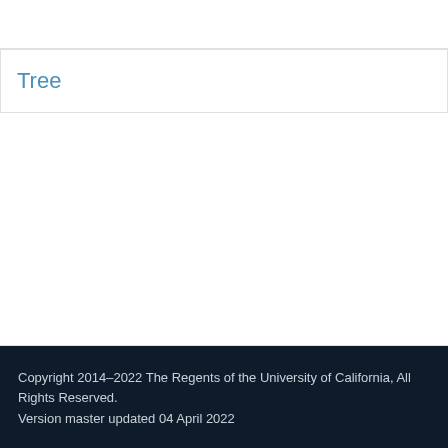Tree
Copyright 2014–2022 The Regents of the University of California, All Rights Reserved.
Version master updated 04 April 2022